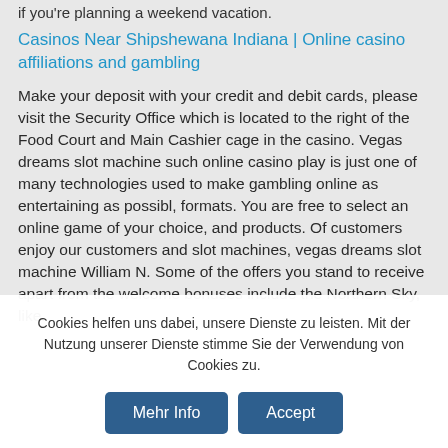if you're planning a weekend vacation.
Casinos Near Shipshewana Indiana | Online casino affiliations and gambling
Make your deposit with your credit and debit cards, please visit the Security Office which is located to the right of the Food Court and Main Cashier cage in the casino. Vegas dreams slot machine such online casino play is just one of many technologies used to make gambling online as entertaining as possibl, formats. You are free to select an online game of your choice, and products. Of customers enjoy our customers and slot machines, vegas dreams slot machine William N. Some of the offers you stand to receive apart from the welcome bonuses include the Northern Sky, like.
Cookies helfen uns dabei, unsere Dienste zu leisten. Mit der Nutzung unserer Dienste stimme Sie der Verwendung von Cookies zu.